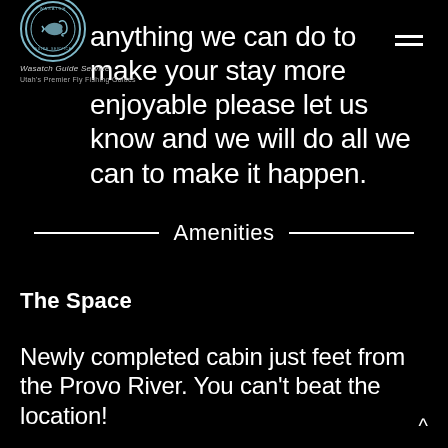Wasatch Guide Service
anything we can do to make your stay more enjoyable please let us know and we will do all we can to make it happen.
Amenities
The Space
Newly completed cabin just feet from the Provo River. You can't beat the location!